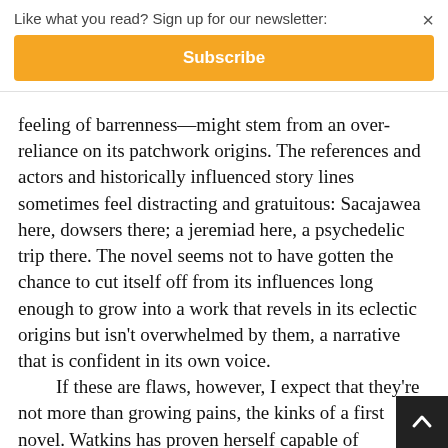Like what you read? Sign up for our newsletter:
Subscribe
feeling of barrenness—might stem from an over-reliance on its patchwork origins. The references and actors and historically influenced story lines sometimes feel distracting and gratuitous: Sacajawea here, dowsers there; a jeremiad here, a psychedelic trip there. The novel seems not to have gotten the chance to cut itself off from its influences long enough to grow into a work that revels in its eclectic origins but isn't overwhelmed by them, a narrative that is confident in its own voice.
	If these are flaws, however, I expect that they're not more than growing pains, the kinks of a first novel. Watkins has proven herself capable of synthesizing the contradictions of the American West—its sublime, strange, gorgeous, and grisly elements—into fiction that is compelling and sma… look forward to more work from both Watkins and fro…